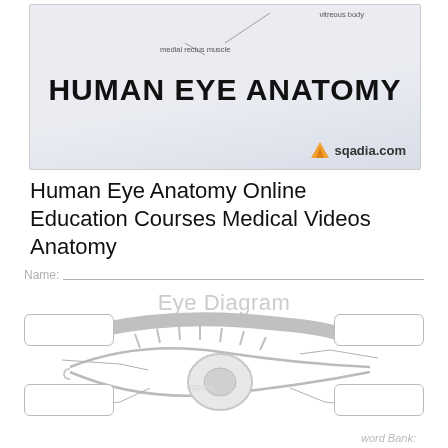[Figure (illustration): Human Eye Anatomy diagram from sqadia.com showing medial rectus muscle label and vitreous body label with a light blue background. Bold title 'HUMAN EYE ANATOMY' in center. sqadia.com logo in bottom right corner.]
Human Eye Anatomy Online Education Courses Medical Videos Anatomy
[Figure (illustration): Eye Diagram worksheet with Name line at top, large watermark-style 'Eye Diagram' text, a detailed eye illustration in gray tones, four empty label boxes (top-left, top-right, bottom-left, bottom-right) connected to the eye with lines, and 'word Bank:' text in the bottom right.]